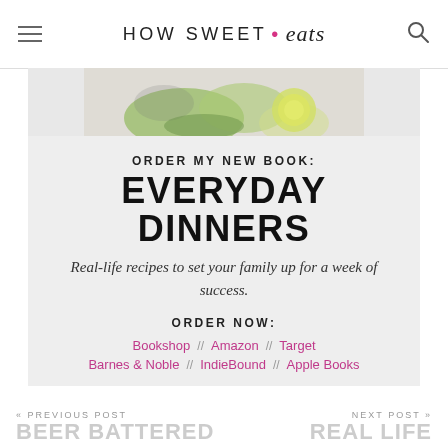HOW SWEET • eats
[Figure (photo): Partial view of a food photo showing salad with green vegetables and lime, cropped at top of promo box]
ORDER MY NEW BOOK:
EVERYDAY DINNERS
Real-life recipes to set your family up for a week of success.
ORDER NOW:
Bookshop // Amazon // Target
Barnes & Noble // IndieBound // Apple Books
« PREVIOUS POST BEER BATTERED ... NEXT POST » REAL LIFE